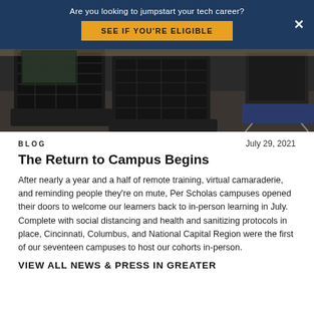Are you looking to jumpstart your tech career? SEE IF YOU'RE ELIGIBLE
[Figure (photo): Classroom interior with black mesh office chairs and desks, overhead view]
BLOG
July 29, 2021
The Return to Campus Begins
After nearly a year and a half of remote training, virtual camaraderie, and reminding people they're on mute, Per Scholas campuses opened their doors to welcome our learners back to in-person learning in July. Complete with social distancing and health and sanitizing protocols in place, Cincinnati, Columbus, and National Capital Region were the first of our seventeen campuses to host our cohorts in-person.
VIEW ALL NEWS & PRESS IN GREATER